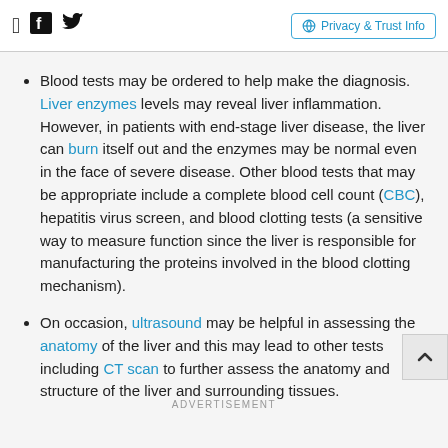Facebook icon | Twitter icon | Privacy & Trust Info
Blood tests may be ordered to help make the diagnosis. Liver enzymes levels may reveal liver inflammation. However, in patients with end-stage liver disease, the liver can burn itself out and the enzymes may be normal even in the face of severe disease. Other blood tests that may be appropriate include a complete blood cell count (CBC), hepatitis virus screen, and blood clotting tests (a sensitive way to measure function since the liver is responsible for manufacturing the proteins involved in the blood clotting mechanism).
On occasion, ultrasound may be helpful in assessing the anatomy of the liver and this may lead to other tests including CT scan to further assess the anatomy and structure of the liver and surrounding tissues.
ADVERTISEMENT